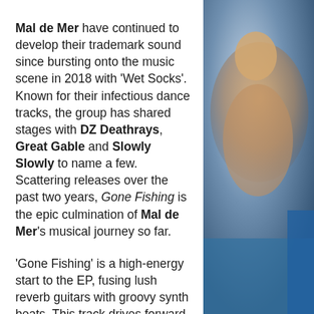Mal de Mer have continued to develop their trademark sound since bursting onto the music scene in 2018 with 'Wet Socks'. Known for their infectious dance tracks, the group has shared stages with DZ Deathrays, Great Gable and Slowly Slowly to name a few. Scattering releases over the past two years, Gone Fishing is the epic culmination of Mal de Mer's musical journey so far.
'Gone Fishing' is a high-energy start to the EP, fusing lush reverb guitars with groovy synth beats. This track drives forward with bubbly arrangements, reaching a high-energy chorus speaking on a more serious topic. The
[Figure (photo): Partial photo of a person, blurred background with blue tones, visible on the right side of the page]